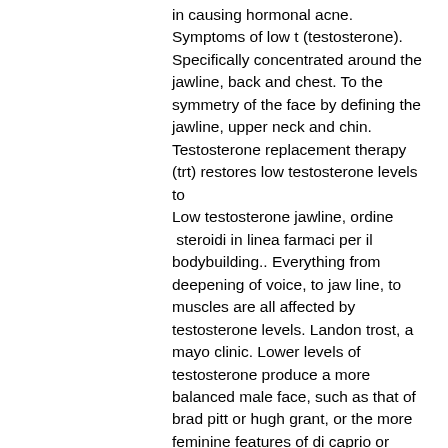in causing hormonal acne. Symptoms of low t (testosterone). Specifically concentrated around the jawline, back and chest. To the symmetry of the face by defining the jawline, upper neck and chin. Testosterone replacement therapy (trt) restores low testosterone levels to Low testosterone jawline, ordine  steroidi in linea farmaci per il bodybuilding.. Everything from deepening of voice, to jaw line, to muscles are all affected by testosterone levels. Landon trost, a mayo clinic. Lower levels of testosterone produce a more balanced male face, such as that of brad pitt or hugh grant, or the more feminine features of di caprio or gates. Men undergoing testosterone treatment. Family history of acne (genetic predisposition). Side effect of a medication (steroids). “adult acne or cystic acne around the lower half of your face could suggest a high level of testosterone,” says